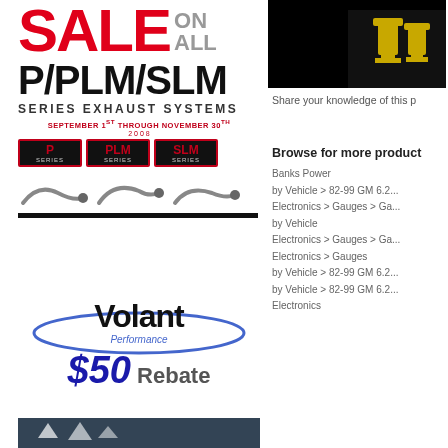[Figure (illustration): Sale advertisement for P/PLM/SLM Series Exhaust Systems, September 1st through November 30th, with logos and exhaust system images]
[Figure (illustration): Volant Performance $50 Rebate advertisement with Volant logo and blue italic rebate text]
[Figure (photo): Patriotic themed image with stars, bottom strip]
[Figure (photo): Product trophy/award photo in black and white]
Share your knowledge of this p
Browse for more product
Banks Power
by Vehicle > 82-99 GM 6.2...
Electronics > Gauges > Ga...
by Vehicle
Electronics > Gauges > Ga...
Electronics > Gauges
by Vehicle > 82-99 GM 6.2...
by Vehicle > 82-99 GM 6.2...
Electronics